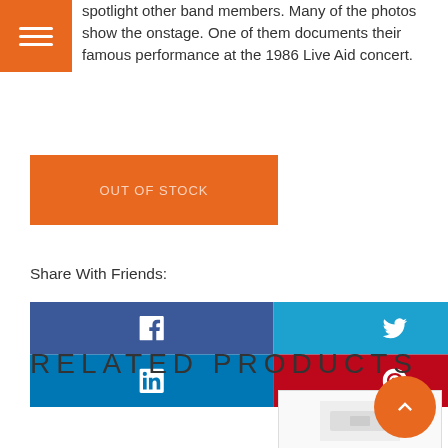spotlight other band members. Many of the photos show the onstage. One of them documents their famous performance at the 1986 Live Aid concert.
[Figure (other): Orange hamburger menu button (three horizontal white lines on orange background)]
OUT OF STOCK
Share With Friends:
[Figure (other): Social media sharing buttons: Facebook (dark blue with f icon), Twitter (cyan with bird icon), LinkedIn (blue with in icon), Pinterest (red with P icon)]
RELATED PRODUCTS
[Figure (photo): Partial product image thumbnail at the bottom of the page]